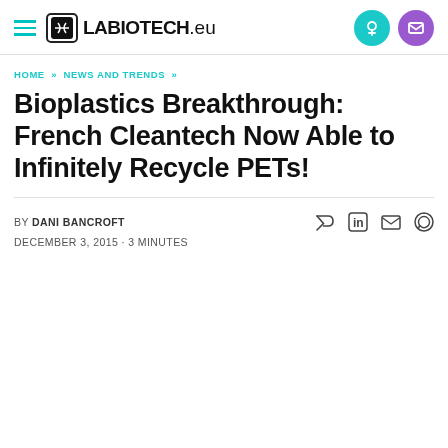LABIOTECH.eu
HOME » NEWS AND TRENDS »
Bioplastics Breakthrough: French Cleantech Now Able to Infinitely Recycle PETs!
BY DANI BANCROFT
DECEMBER 3, 2015 · 3 MINUTES